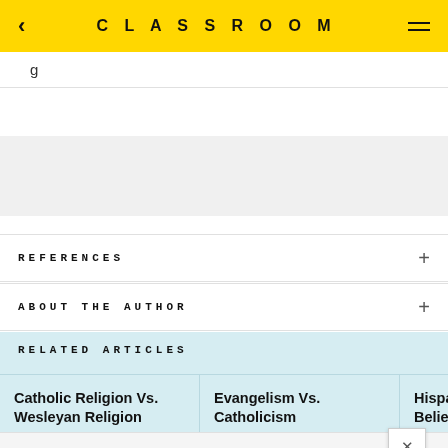CLASSROOM
REFERENCES
ABOUT THE AUTHOR
RELATED ARTICLES
Catholic Religion Vs. Wesleyan Religion
Evangelism Vs. Catholicism
Hispa Belie